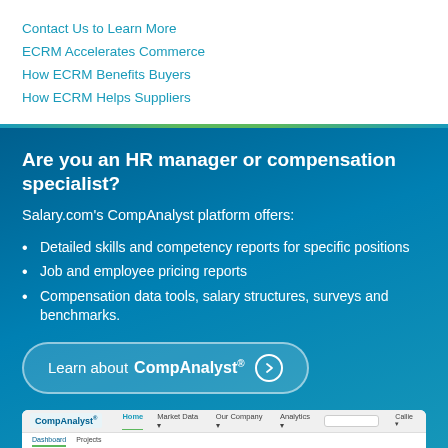Contact Us to Learn More
ECRM Accelerates Commerce
How ECRM Benefits Buyers
How ECRM Helps Suppliers
Are you an HR manager or compensation specialist?
Salary.com's CompAnalyst platform offers:
Detailed skills and competency reports for specific positions
Job and employee pricing reports
Compensation data tools, salary structures, surveys and benchmarks.
Learn about CompAnalyst®
[Figure (screenshot): Screenshot of CompAnalyst platform dashboard showing navigation bar with Home, Market Data, Our Company, Analytics menus, a search box, and dashboard content with Welcome Callie message and Search my Jobs field]